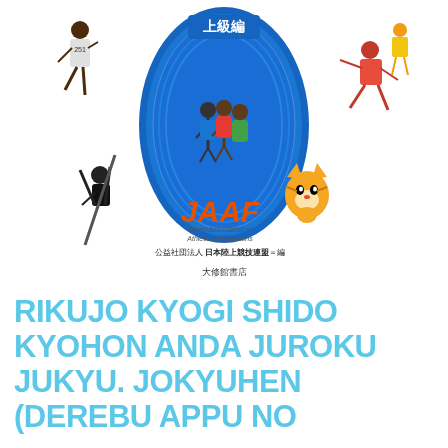[Figure (illustration): Book cover for JAAF (Japan Association of Athletics Federations) athletics coaching manual - advanced level. Features multiple athletes (sprinters, middle-distance runners, javelin thrower, pole vaulter) around a blue oval/stadium shape with Japanese text '上級編' (advanced level). JAAF logo with orange italic text, a mascot character (cartoon tiger/cat), and publisher info. Bottom half shows the romanized title in large light blue bold text.]
RIKUJO KYOGI SHIDO KYOHON ANDA JUROKU JUKYU. JOKYUHEN (DEREBU APPU NO